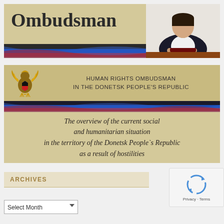[Figure (screenshot): Top banner of the Human Rights Ombudsman website with 'Ombudsman' text in large bold font on a beige/gold background, a flag stripe (black, blue, red) at the bottom, and a photo of a woman seated at a desk on the right side]
[Figure (screenshot): Middle banner showing the Donetsk People's Republic emblem (golden eagle), text 'HUMAN RIGHTS OMBUDSMAN IN THE DONETSK PEOPLE'S REPUBLIC', a flag stripe, and the document title 'The overview of the current social and humanitarian situation in the territory of the Donetsk People's Republic as a result of hostilities']
ARCHIVES
[Figure (screenshot): reCAPTCHA widget with spinning arrows icon and 'Privacy · Terms' links]
Select Month